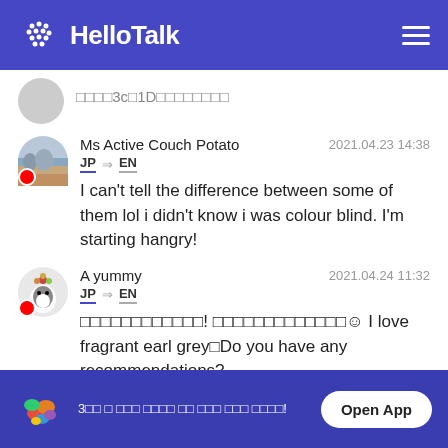HelloTalk
□□□□3c□1D□□□□□□□□
Ms Active Couch Potato  2021.04.23 14:38
JP → EN
I can't tell the difference between some of them lol i didn't know i was colour blind. I'm starting hangry!
A yummy  2021.04.24 11:32
JP → EN
□□□□□□□□□□□□! □□□□□□□□□□□□□☺ I love fragrant earl grey Do you have any recommendations?
3□□ □ □□□ □□□□ □□ □□□ □□□ □□□□!